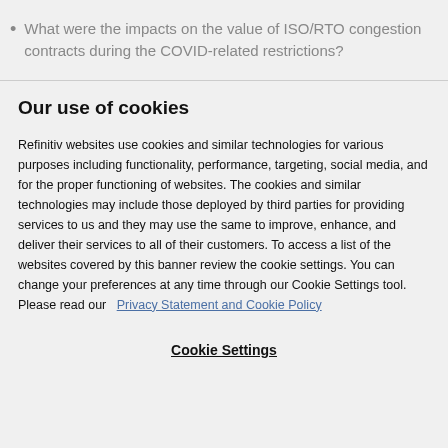What were the impacts on the value of ISO/RTO congestion contracts during the COVID-related restrictions?
Our use of cookies
Refinitiv websites use cookies and similar technologies for various purposes including functionality, performance, targeting, social media, and for the proper functioning of websites. The cookies and similar technologies may include those deployed by third parties for providing services to us and they may use the same to improve, enhance, and deliver their services to all of their customers. To access a list of the websites covered by this banner review the cookie settings. You can change your preferences at any time through our Cookie Settings tool. Please read our  Privacy Statement and Cookie Policy
Cookie Settings